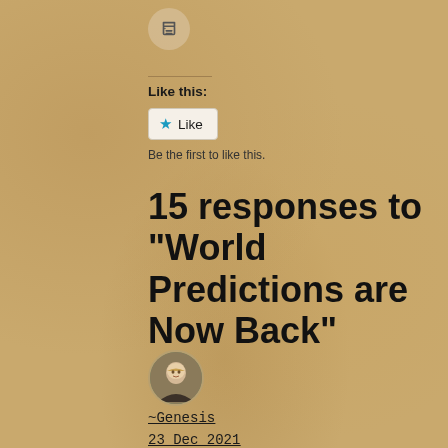[Figure (illustration): Printer icon inside a circular button]
Like this:
[Figure (illustration): Like button with star icon and 'Like' text]
Be the first to like this.
15 responses to “World Predictions are Now Back”
[Figure (photo): Circular avatar photo of a blonde woman]
~Genesis
23 Dec 2021